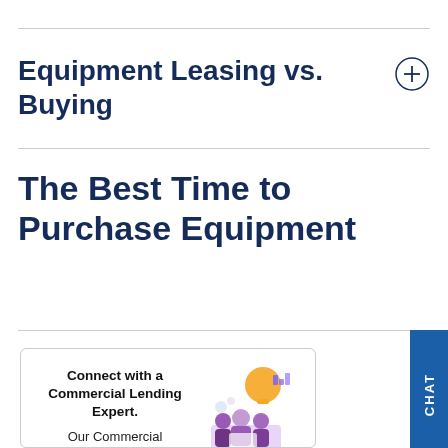Equipment Leasing vs. Buying
The Best Time to Purchase Equipment
Connect with a Commercial Lending Expert. Our Commercial Lenders are truly relationship bankers, and they are ready to get to know you and your
[Figure (illustration): Illustration of people sitting at a table with a large lightbulb and bar chart icons above them, representing commercial lending or business meeting.]